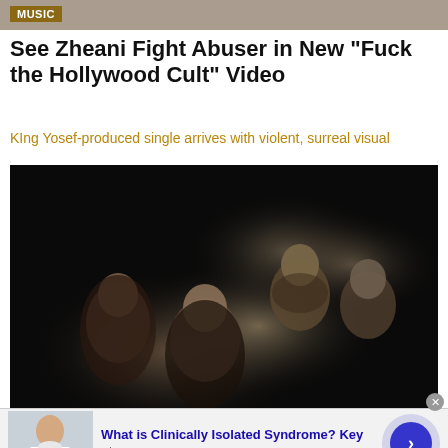MUSIC
See Zheani Fight Abuser in New "Fuck the Hollywood Cult" Video
KIng Yosef-produced single arrives with violent, surreal visual
[Figure (photo): Black and white photo of four people (band members) dramatically posed against a dark background, faces illuminated]
[Figure (photo): Advertisement banner showing a doctor image on left, text 'What is Clinically Isolated Syndrome? Key' in blue, 'n/a' below, and a blue arrow button on right]